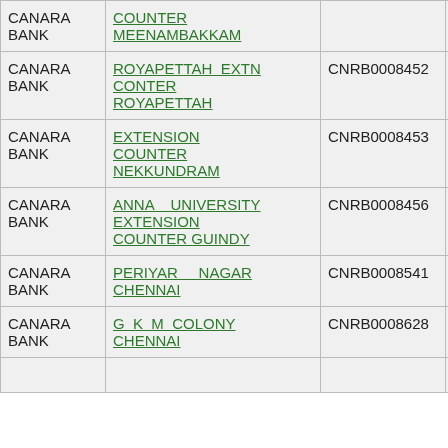| Bank | Branch | IFSC | Status |
| --- | --- | --- | --- |
| CANARA BANK | COUNTER MEENAMBAKKAM |  |  |
| CANARA BANK | ROYAPETTAH EXTN CONTER ROYAPETTAH | CNRB0008452 | WAITING |
| CANARA BANK | EXTENSION COUNTER NEKKUNDRAM | CNRB0008453 | WAITING |
| CANARA BANK | ANNA UNIVERSITY EXTENSION COUNTER GUINDY | CNRB0008456 | WAITING |
| CANARA BANK | PERIYAR NAGAR CHENNAI | CNRB0008541 | WAITING |
| CANARA BANK | G K M COLONY CHENNAI | CNRB0008628 | WAITING |
| CANARA BANK |  |  |  |